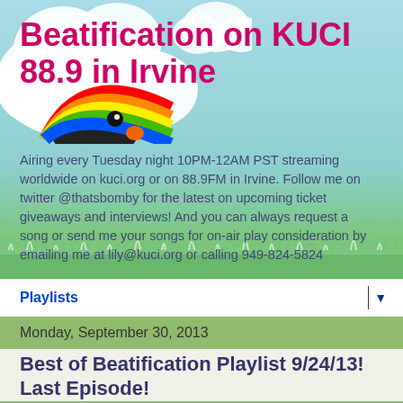[Figure (illustration): Decorative background illustration with light blue sky, white cloud shapes, green grass at the bottom, and a colorful rainbow with a cartoon bird/creature in the upper left area of the header section.]
Beatification on KUCI 88.9 in Irvine
Airing every Tuesday night 10PM-12AM PST streaming worldwide on kuci.org or on 88.9FM in Irvine. Follow me on twitter @thatsbomby for the latest on upcoming ticket giveaways and interviews! And you can always request a song or send me your songs for on-air play consideration by emailing me at lily@kuci.org or calling 949-824-5824
Playlists
Monday, September 30, 2013
Best of Beatification Playlist 9/24/13! Last Episode!